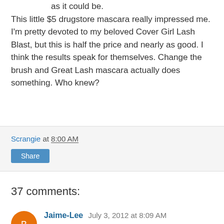as it could be. This little $5 drugstore mascara really impressed me. I'm pretty devoted to my beloved Cover Girl Lash Blast, but this is half the price and nearly as good. I think the results speak for themselves. Change the brush and Great Lash mascara actually does something. Who knew?
Scrangie at 8:00 AM
Share
37 comments:
Jaime-Lee July 3, 2012 at 8:09 AM
I always felt the same about Great Lash, people would recommend it and I'd think "oh maybe I'm using it wrong" (?!) and buy another one, and it was still poo. I hope this is available in the UK, that brush looks fantastic